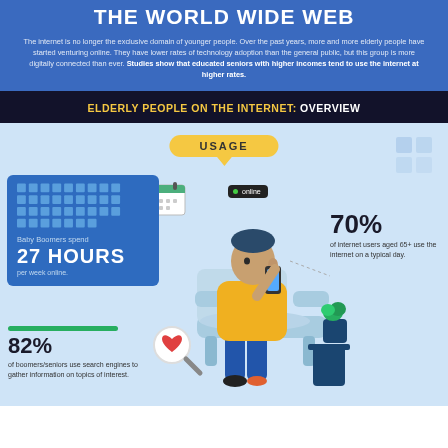THE WORLD WIDE WEB
The internet is no longer the exclusive domain of younger people. Over the past years, more and more elderly people have started venturing online. They have lower rates of technology adoption than the general public, but this group is more digitally connected than ever. Studies show that educated seniors with higher incomes tend to use the internet at higher rates.
ELDERLY PEOPLE ON THE INTERNET: OVERVIEW
[Figure (infographic): Infographic about elderly people on the internet showing usage statistics. Includes: Baby Boomers spend 27 HOURS per week online; 70% of internet users aged 65+ use the internet on a typical day; 82% of boomers/seniors use search engines to gather information on topics of interest. A central illustration shows an elderly person sitting in a chair using a mobile phone. A USAGE label bubble is at the top. Decorative calendar and grid icons are shown on the left. A search magnifier icon is shown at bottom left.]